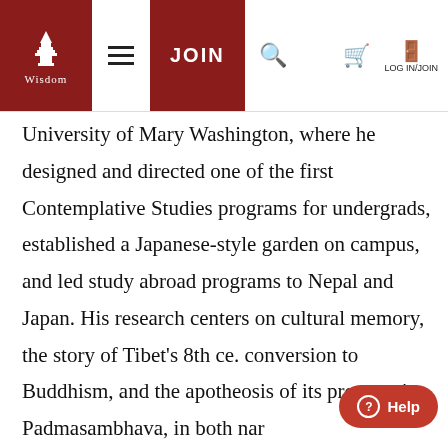Wisdom | Navigation bar with logo, JOIN button, search, cart, and LOG IN/JOIN
University of Mary Washington, where he designed and directed one of the first Contemplative Studies programs for undergrads, established a Japanese-style garden on campus, and led study abroad programs to Nepal and Japan. His research centers on cultural memory, the story of Tibet's 8th ce. conversion to Buddhism, and the apotheosis of its protagonist, Padmasambhava, in both narrative and iconography. Dan is Visiting Faculty for Tibet